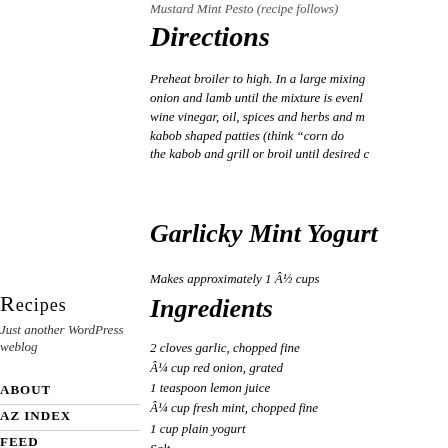Mustard Mint Pesto (recipe follows)
Directions
Preheat broiler to high. In a large mixing onion and lamb until the mixture is evenly wine vinegar, oil, spices and herbs and m kabob shaped patties (think “corn do the kabob and grill or broil until desired c
Garlicky Mint Yogurt
Makes approximately 1 Â½ cups
Ingredients
2 cloves garlic, chopped fine
Â¼ cup red onion, grated
1 teaspoon lemon juice
Â¼ cup fresh mint, chopped fine
1 cup plain yogurt
Salt
Pepper
Recipes
Just another WordPress weblog
ABOUT
AZ INDEX
FEED